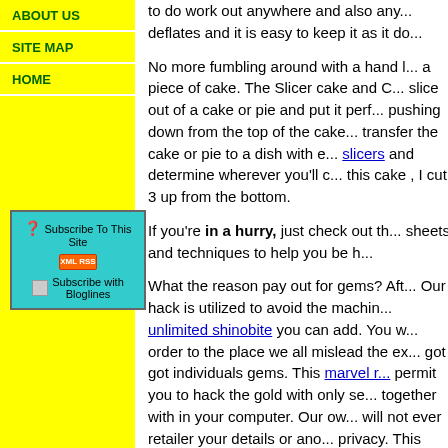ABOUT US
SITE MAP
HOME
[Figure (other): Subscribe To This Site box with XML RSS and Subscribe with Bloglines links, cyan background]
to do work out anywhere and also any... deflates and it is easy to keep it as it do...
No more fumbling around with a hand... a piece of cake. The Slicer cake and C... slice out of a cake or pie and put it perf... pushing down from the top of the cake... transfer the cake or pie to a dish with e... slicers and determine wherever you'll c... this cake , I cut 3 up from the bottom.
If you're in a hurry, just check out th... sheets and techniques to help you be h...
What the reason pay out for gems? Aft... Our hack is utilized to avoid the machin... unlimited shinobite you can add. You w... order to the place we all mislead the ex... got got individuals gems. This marvel r... permit you to hack the gold with only se... together with in your computer. Our ow... will not ever retailer your details or ano... privacy. This best game cheats is made...
The purpose of the Hay day game is to... through the game you can use this Rob... cheats are designed to help you quick...